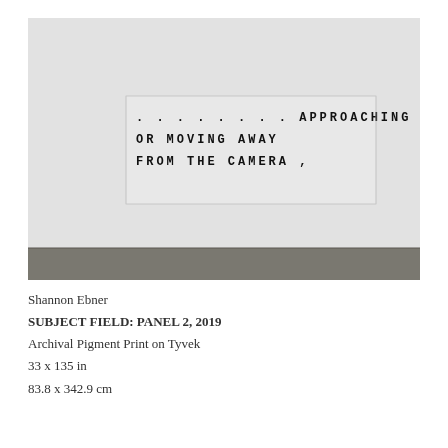[Figure (photo): Gallery installation photo showing a large artwork mounted on a white gallery wall. The artwork consists of translucent panels with large bold spaced-out text reading: '. . . . . . . . APPROACHING / OR    MOVING     AWAY / FROM    THE    CAMERA    ,' The gallery has a concrete floor visible at the bottom.]
Shannon Ebner
SUBJECT FIELD: PANEL 2, 2019
Archival Pigment Print on Tyvek
33 x 135 in
83.8 x 342.9 cm